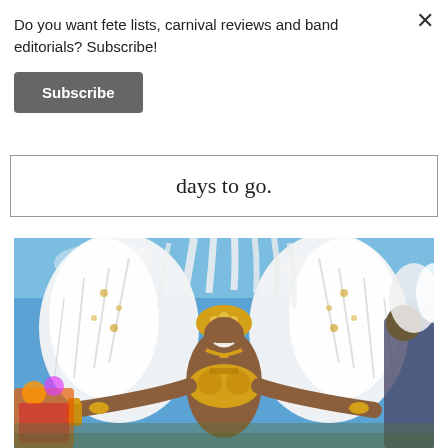Do you want fete lists, carnival reviews and band editorials? Subscribe!
Subscribe
×
days to go.
[Figure (photo): A smiling woman in elaborate gold and white carnival costume with large white feathered wings and headdress, posing with arms outstretched against a blue sky at a Caribbean carnival parade.]